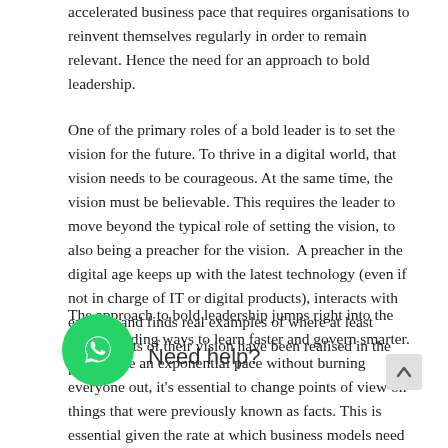accelerated business pace that requires organisations to reinvent themselves regularly in order to remain relevant. Hence the need for an approach to bold leadership.
One of the primary roles of a bold leader is to set the vision for the future. To thrive in a digital world, that vision needs to be courageous. At the same time, the vision must be believable. This requires the leader to move beyond the typical role of setting the vision, to also being a preacher for the vision. A preacher in the digital age keeps up with the latest technology (even if not in charge of IT or digital products), interacts with experts, and finds real examples of where at least components of their vision have been realised in the market.
The approach to bold leadership jumps right into the gap, providing ways to learn faster and govern smarter. To achieve an exponential pace without burning everyone out, it's essential to change points of view on things that were previously known as facts. This is essential given the rate at which business models need to be adjusted continuously. Reaching an exponential pace also requires adoption of current technologies like artificial intelligence, augmented reality and blockchain.